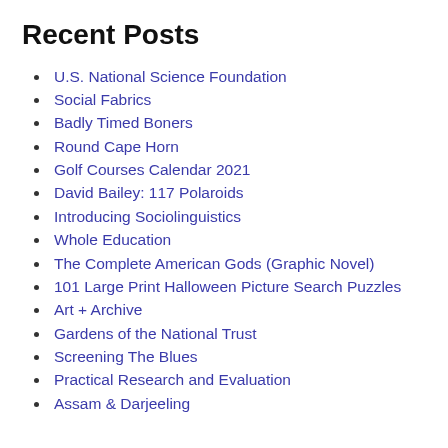Recent Posts
U.S. National Science Foundation
Social Fabrics
Badly Timed Boners
Round Cape Horn
Golf Courses Calendar 2021
David Bailey: 117 Polaroids
Introducing Sociolinguistics
Whole Education
The Complete American Gods (Graphic Novel)
101 Large Print Halloween Picture Search Puzzles
Art + Archive
Gardens of the National Trust
Screening The Blues
Practical Research and Evaluation
Assam & Darjeeling